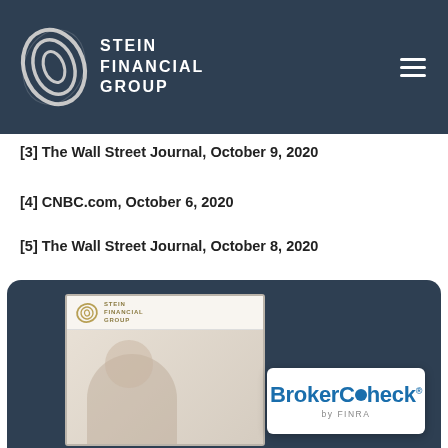Stein Financial Group
[3] The Wall Street Journal, October 9, 2020
[4] CNBC.com, October 6, 2020
[5] The Wall Street Journal, October 8, 2020
[6] The Wall Street Journal, October 9, 2020
[Figure (screenshot): Stein Financial Group website preview card with BrokerCheck by FINRA badge]